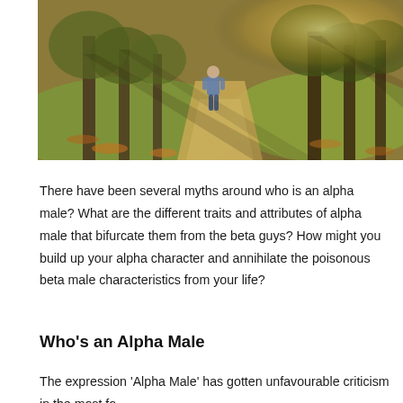[Figure (photo): Person walking away on a path through trees with sunlight filtering through, autumn leaves on the ground, lush green grass on sides]
There have been several myths around who is an alpha male? What are the different traits and attributes of alpha male that bifurcate them from the beta guys? How might you build up your alpha character and annihilate the poisonous beta male characteristics from your life?
Who’s an Alpha Male
The expression ‘Alpha Male’ has gotten unfavourable criticism in the most fo...